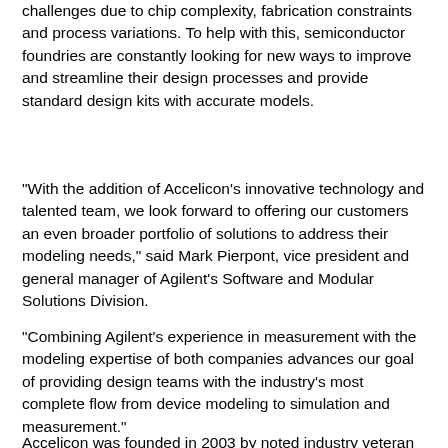challenges due to chip complexity, fabrication constraints and process variations. To help with this, semiconductor foundries are constantly looking for new ways to improve and streamline their design processes and provide standard design kits with accurate models.
"With the addition of Accelicon's innovative technology and talented team, we look forward to offering our customers an even broader portfolio of solutions to address their modeling needs," said Mark Pierpont, vice president and general manager of Agilent's Software and Modular Solutions Division.
"Combining Agilent's experience in measurement with the modeling expertise of both companies advances our goal of providing design teams with the industry's most complete flow from device modeling to simulation and measurement."
Accelicon was founded in 2003 by noted industry veteran Dr.